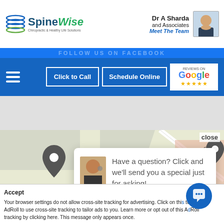[Figure (screenshot): SpineWise chiropractic clinic website screenshot showing logo, navigation, Google reviews badge, a map with a chat popup overlay, and a cookie consent bar at the bottom.]
SpineWise
Dr A Sharda and Associates
Meet The Team
FOLLOW US ON FACEBOOK
Click to Call
Schedule Online
Google ★★★★★
Have a question? Click and we'll send you a special just for asking!
close
ServiceOntario
Durham Condominium
Clarington Baseball Ass
Wellington
Accept
Your browser settings do not allow cross-site tracking for advertising. Click on this to allow AdRoll to use cross-site tracking to tailor ads to you. Learn more or opt out of this AdRoll tracking by clicking here. This message only appears once.